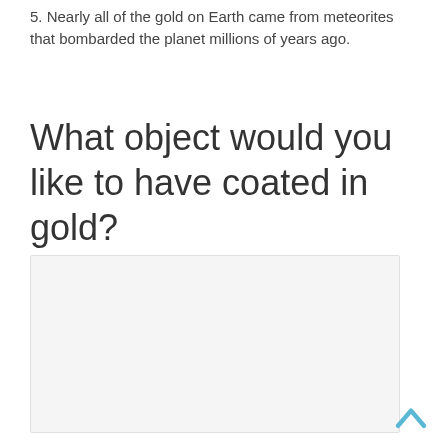5. Nearly all of the gold on Earth came from meteorites that bombarded the planet millions of years ago.
What object would you like to have coated in gold?
[Figure (other): Empty light grey input/response box for user to write their answer]